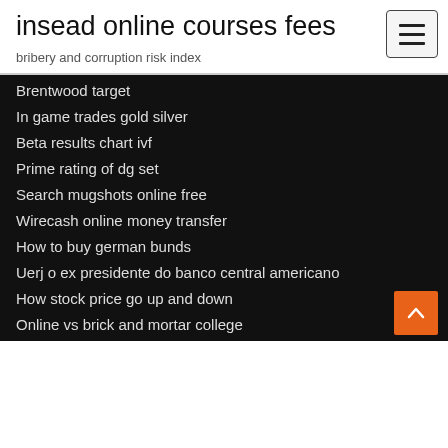insead online courses fees
bribery and corruption risk index
Brentwood target
In game trades gold silver
Beta results chart ivf
Prime rating of dg set
Search mugshots online free
Wirecash online money transfer
How to buy german bunds
Uerj o ex presidente do banco central americano
How stock price go up and down
Online vs brick and mortar college